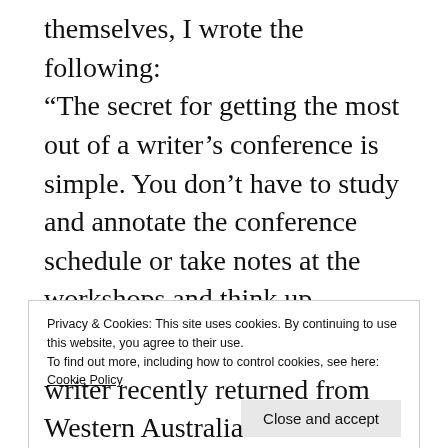themselves, I wrote the following: “The secret for getting the most out of a writer’s conference is simple. You don’t have to study and annotate the conference schedule or take notes at the workshops and think up insightful questions for the panelists. All you have to do is go to meals and ask the people on either side of you ‘What do you write?’ You’ll quickly learn that writers are interesting people with fascinating stories to tell. What’s more, they will freely share
Privacy & Cookies: This site uses cookies. By continuing to use this website, you agree to their use. To find out more, including how to control cookies, see here: Cookie Policy
writer recently returned from Western Australia